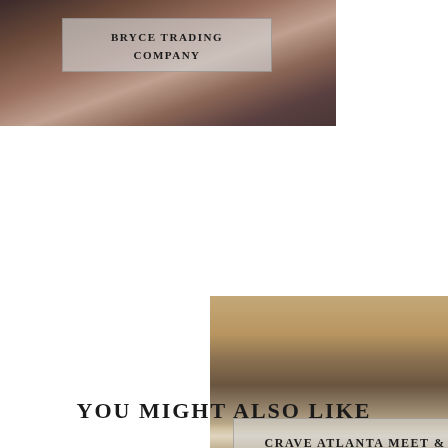[Figure (photo): Photo of a woman, partially visible face and shoulders, dark hair, light background. Overlaid with a semi-transparent label box reading 'BRYCE TRADING COMPANY'.]
[Figure (photo): Photo of a person wearing a leopard print top, teal fabric visible on right side, colorful items at bottom. Overlaid with a semi-transparent label box reading 'CRAVE ATLANTA MEET & GREET'.]
YOU MIGHT ALSO LIKE